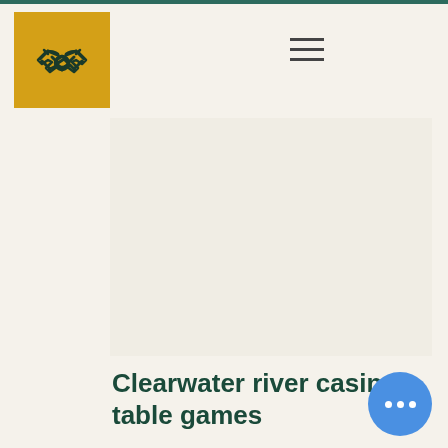[Figure (logo): Yellow square logo with handshake icon in dark teal/green]
Clearwater river casino table games
It has been accustomed to believe, even when referring to land-based slots, su in Vegas, Reno and in most US States that if a player has recently gotten a high